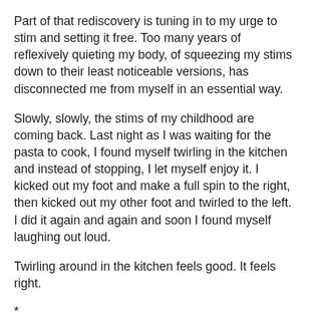Part of that rediscovery is tuning in to my urge to stim and setting it free. Too many years of reflexively quieting my body, of squeezing my stims down to their least noticeable versions, has disconnected me from myself in an essential way.
Slowly, slowly, the stims of my childhood are coming back. Last night as I was waiting for the pasta to cook, I found myself twirling in the kitchen and instead of stopping, I let myself enjoy it. I kicked out my foot and make a full spin to the right, then kicked out my other foot and twirled to the left. I did it again and again and soon I found myself laughing out loud.
Twirling around in the kitchen feels good. It feels right.
*
As I unlearn my habit of minimizing my stims, I feel like I’m reintegrating parts of myself that have been disconnected for a